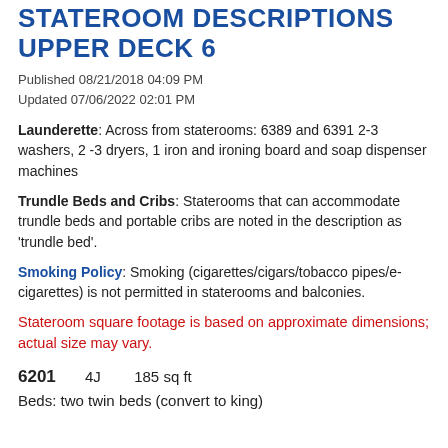STATEROOM DESCRIPTIONS UPPER DECK 6
Published 08/21/2018 04:09 PM
Updated 07/06/2022 02:01 PM
Launderette: Across from staterooms: 6389 and 6391 2-3 washers, 2 -3 dryers, 1 iron and ironing board and soap dispenser machines
Trundle Beds and Cribs: Staterooms that can accommodate trundle beds and portable cribs are noted in the description as 'trundle bed'.
Smoking Policy: Smoking (cigarettes/cigars/tobacco pipes/e-cigarettes) is not permitted in staterooms and balconies.
Stateroom square footage is based on approximate dimensions; actual size may vary.
6201   4J   185 sq ft
Beds: two twin beds (convert to king)